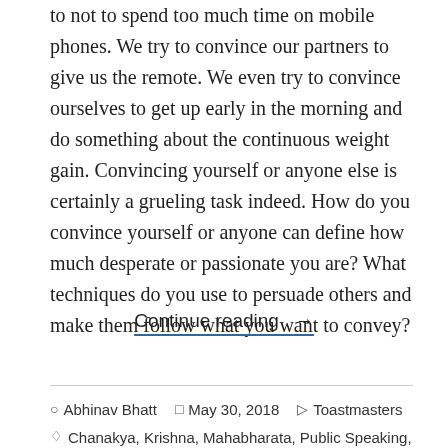to not to spend too much time on mobile phones. We try to convince our partners to give us the remote. We even try to convince ourselves to get up early in the morning and do something about the continuous weight gain. Convincing yourself or anyone else is certainly a grueling task indeed. How do you convince yourself or anyone can define how much desperate or passionate you are? What techniques do you use to persuade others and make them follow what you want to convey?
Continue reading →
Abhinav Bhatt   May 30, 2018   Toastmasters   Chanakya, Krishna, Mahabharata, Public Speaking,